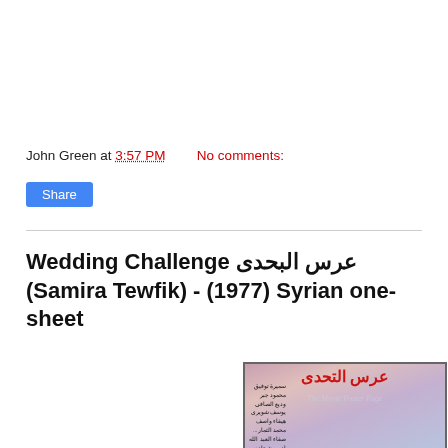John Green at 3:57 PM   No comments:
Share
Wedding Challenge عرس البحدى (Samira Tewfik) - (1977) Syrian one-sheet
[Figure (photo): Syrian one-sheet movie poster for 'Wedding Challenge / عرس البحدى' (1977) featuring Samira Tewfik. The poster shows a smiling woman with dark hair and jewelry, Arabic calligraphy title at top in red, cast credits in Arabic on the left side, and a watermark reading 'The Movie Poster Page'.]